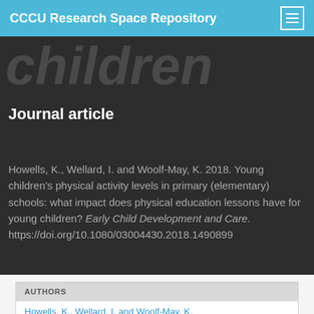CCCU Research Space Repository
children
Journal article
Howells, K., Wellard, I. and Woolf-May, K. 2018. Young children's physical activity levels in primary (elementary) schools: what impact does physical education lessons have for young children? Early Child Development and Care. https://doi.org/10.1080/03004430.2018.1490899
| AUTHORS |
| --- |
| Howells, K., Wellard, I. and Woolf-May, K. |